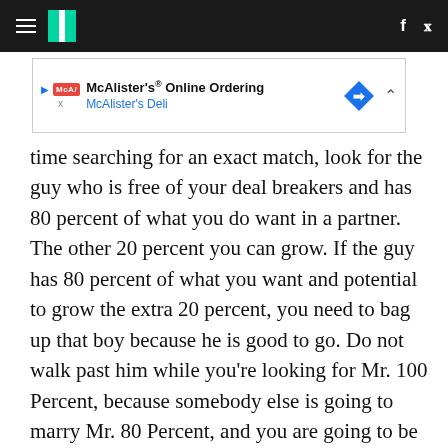HuffPost navigation bar with hamburger menu, HuffPost logo, Facebook and Twitter icons
[Figure (other): McAlister's Deli advertisement banner: McAlister's Online Ordering, McAlister's Deli]
time searching for an exact match, look for the guy who is free of your deal breakers and has 80 percent of what you do want in a partner. The other 20 percent you can grow. If the guy has 80 percent of what you want and potential to grow the extra 20 percent, you need to bag up that boy because he is good to go. Do not walk past him while you're looking for Mr. 100 Percent, because somebody else is going to marry Mr. 80 Percent, and you are going to be standing there 60 percent sad and 40 percent frustrated.
I've counseled many couples, and I've been